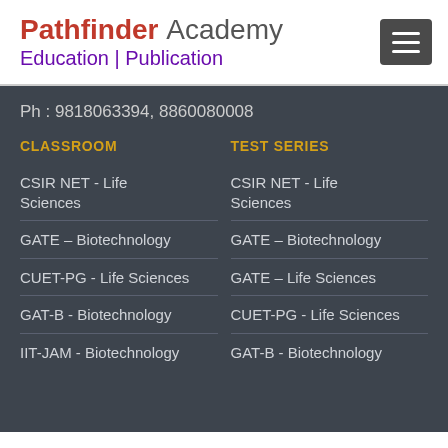Pathfinder Academy Education | Publication
Ph : 9818063394, 8860080008
CLASSROOM
CSIR NET - Life Sciences
GATE – Biotechnology
CUET-PG - Life Sciences
GAT-B - Biotechnology
IIT-JAM - Biotechnology
TEST SERIES
CSIR NET - Life Sciences
GATE – Biotechnology
GATE – Life Sciences
CUET-PG - Life Sciences
GAT-B - Biotechnology